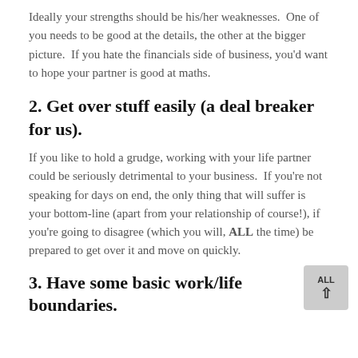Ideally your strengths should be his/her weaknesses.  One of you needs to be good at the details, the other at the bigger picture.  If you hate the financials side of business, you'd want to hope your partner is good at maths.
2. Get over stuff easily (a deal breaker for us).
If you like to hold a grudge, working with your life partner could be seriously detrimental to your business.  If you're not speaking for days on end, the only thing that will suffer is your bottom-line (apart from your relationship of course!), if you're going to disagree (which you will, ALL the time) be prepared to get over it and move on quickly.
3. Have some basic work/life boundaries.